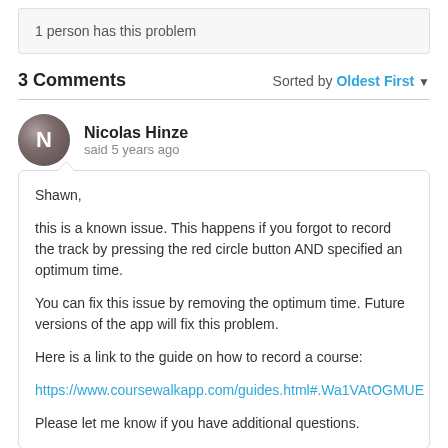1 person has this problem
3 Comments
Sorted by Oldest First ▼
Nicolas Hinze
said 5 years ago
Shawn,

this is a known issue. This happens if you forgot to record the track by pressing the red circle button AND specified an optimum time.

You can fix this issue by removing the optimum time. Future versions of the app will fix this problem.

Here is a link to the guide on how to record a course:

https://www.coursewalkapp.com/guides.html#.Wa1VAtOGMUE

Please let me know if you have additional questions.